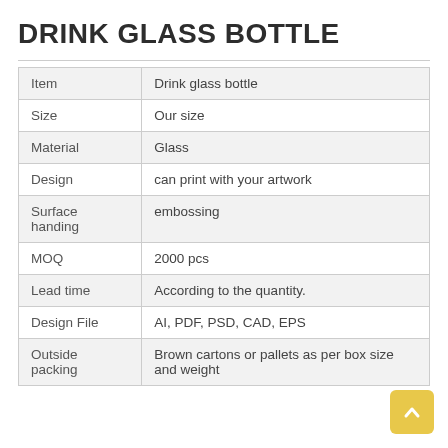DRINK GLASS BOTTLE
| Item | Drink glass bottle |
| Size | Our size |
| Material | Glass |
| Design | can print with your artwork |
| Surface handing | embossing |
| MOQ | 2000 pcs |
| Lead time | According to the quantity. |
| Design File | AI, PDF, PSD, CAD, EPS |
| Outside packing | Brown cartons or pallets as per box size and weight |